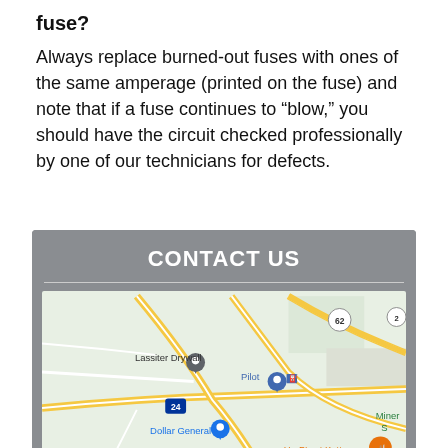fuse?
Always replace burned-out fuses with ones of the same amperage (printed on the fuse) and note that if a fuse continues to “blow,” you should have the circuit checked professionally by one of our technicians for defects.
CONTACT US
[Figure (map): Google map showing area around Kuttawa, Kentucky with landmarks including Lassiter Drywall, Pilot, Dollar General, Hu-B's at Kuttawa, Vista Ridge, and Miner S. Roads including Highway 62 and Interstate 24 are visible.]